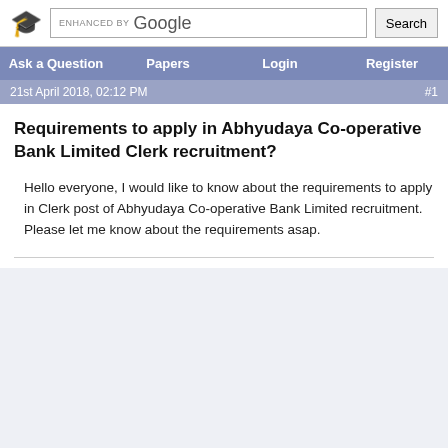Ask a Question | Papers | Login | Register
21st April 2018, 02:12 PM  #1
Requirements to apply in Abhyudaya Co-operative Bank Limited Clerk recruitment?
Hello everyone, I would like to know about the requirements to apply in Clerk post of Abhyudaya Co-operative Bank Limited recruitment. Please let me know about the requirements asap.